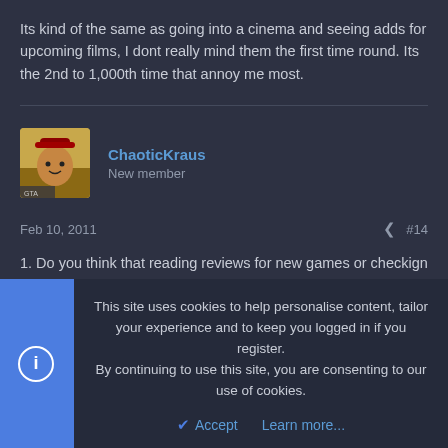Its kind of the same as going into a cinema and seeing adds for upcoming films, I dont really mind them the first time round. Its the 2nd to 1,000th time that annoy me most.
ChaoticKraus
New member
Feb 10, 2011    #14
1. Do you think that reading reviews for new games or checkign review scores on Metacritic affects whether or not you'll buy a game?

Yes
This site uses cookies to help personalise content, tailor your experience and to keep you logged in if you register.
By continuing to use this site, you are consenting to our use of cookies.

Accept    Learn more...